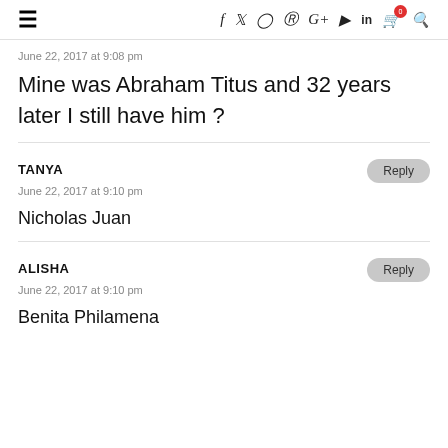≡ f ♥ ◎ ⊕ G+ ▶ in 🛒 0 🔍
June 22, 2017 at 9:08 pm
Mine was Abraham Titus and 32 years later I still have him ?
TANYA
June 22, 2017 at 9:10 pm
Nicholas Juan
ALISHA
June 22, 2017 at 9:10 pm
Benita Philamena